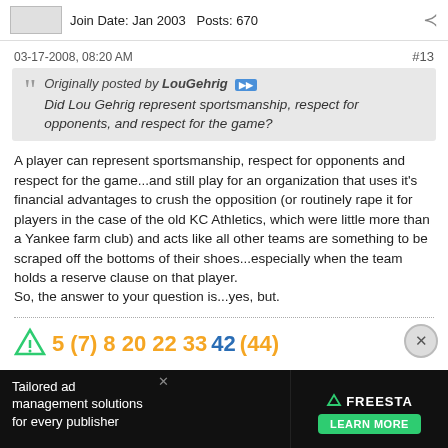Join Date: Jan 2003   Posts: 670
03-17-2008, 08:20 AM   #13
Originally posted by LouGehrig  Did Lou Gehrig represent sportsmanship, respect for opponents, and respect for the game?
A player can represent sportsmanship, respect for opponents and respect for the game...and still play for an organization that uses it's financial advantages to crush the opposition (or routinely rape it for players in the case of the old KC Athletics, which were little more than a Yankee farm club) and acts like all other teams are something to be scraped off the bottoms of their shoes...especially when the team holds a reserve clause on that player.
So, the answer to your question is...yes, but.
5 (7) 8 20 22 33 42 (44)
[Figure (other): Advertisement: Tailored ad management solutions for every publisher - FREESTA brand with green triangle logo and LEARN MORE button]